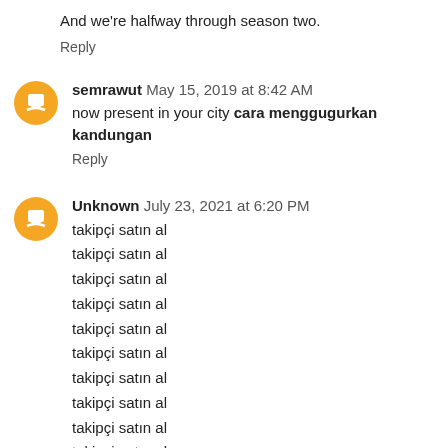And we're halfway through season two.
Reply
semrawut  May 15, 2019 at 8:42 AM
now present in your city cara menggugurkan kandungan
Reply
Unknown  July 23, 2021 at 6:20 PM
takipçi satın al
takipçi satın al
takipçi satın al
takipçi satın al
takipçi satın al
takipçi satın al
takipçi satın al
takipçi satın al
takipçi satın al
takipçi satın al